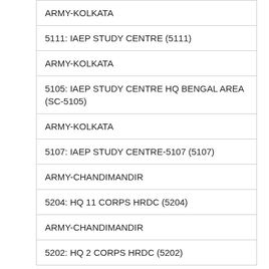| ARMY-KOLKATA |
| 5111: IAEP STUDY CENTRE (5111) |
| ARMY-KOLKATA |
| 5105: IAEP STUDY CENTRE HQ BENGAL AREA (SC-5105) |
| ARMY-KOLKATA |
| 5107: IAEP STUDY CENTRE-5107 (5107) |
| ARMY-CHANDIMANDIR |
| 5204: HQ 11 CORPS HRDC (5204) |
| ARMY-CHANDIMANDIR |
| 5202: HQ 2 CORPS HRDC (5202) |